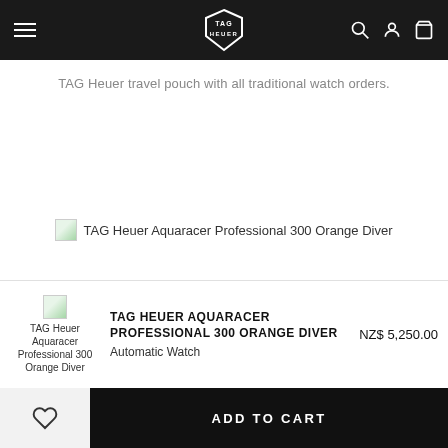TAG Heuer navigation bar with logo, menu, search, account, and cart icons
TAG Heuer travel pouch with all traditional watch orders.
[Figure (photo): TAG Heuer Aquaracer Professional 300 Orange Diver product image (broken/loading)]
TECHNICAL SPECIFICATIONS
[Figure (photo): TAG Heuer Aquaracer Professional 300 Orange Diver thumbnail in product sticky bar]
TAG HEUER AQUARACER PROFESSIONAL 300 ORANGE DIVER
Automatic Watch
NZ$ 5,250.00
ADD TO CART